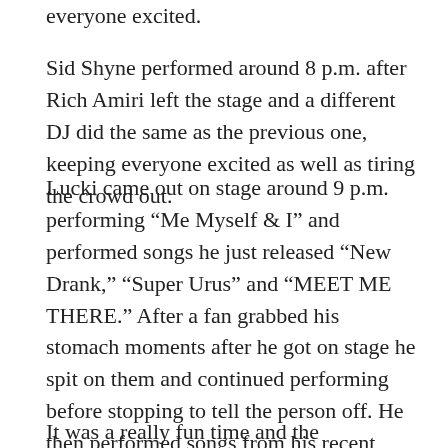everyone excited.
Sid Shyne performed around 8 p.m. after Rich Amiri left the stage and a different DJ did the same as the previous one, keeping everyone excited as well as tiring the crowd out.
Lucki came out on stage around 9 p.m. performing “Me Myself & I” and performed songs he just released “New Drank,” “Super Urus” and “MEET ME THERE.” After a fan grabbed his stomach moments after he got on stage he spit on them and continued performing before stopping to tell the person off. He then performed songs from his recent album “WAKE UP LUCKI.” He performed songs from his older albums as well, like “All in,” “2 of you (hearts),” “Unlimited,” “More than ever” and more. He even performed an unreleased song he hadn’t played for any of the other concerts.
It was a really fun time and the atmosphere was great.